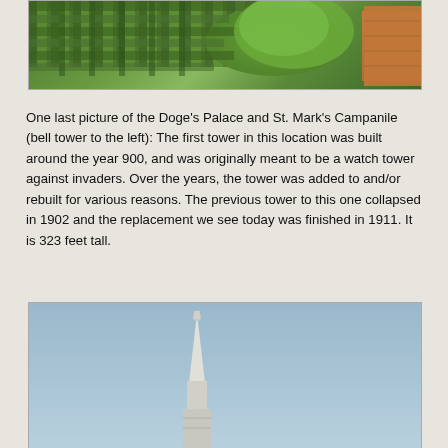[Figure (photo): Aerial view of hedge maze and topiary garden with trees and red-tiled roof visible, likely at Doge's Palace area in Venice]
One last picture of the Doge's Palace and St. Mark's Campanile (bell tower to the left): The first tower in this location was built around the year 900, and was originally meant to be a watch tower against invaders.  Over the years, the tower was added to and/or rebuilt for various reasons.  The previous tower to this one collapsed in 1902 and the replacement we see today was finished in 1911.  It is 323 feet tall.
[Figure (photo): Photo of St. Mark's Campanile tower spire against a clear blue sky, showing the top portion of the bell tower in Venice]